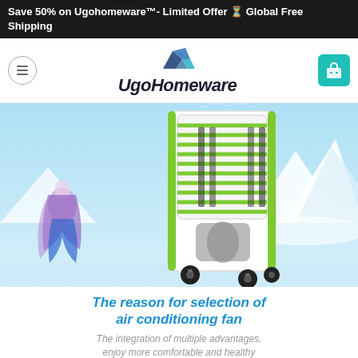Save 50% on Ugohomeware™- Limited Offer ⏳ Global Free Shipping
[Figure (logo): UgoHomeware logo with blue geometric icon and italic bold text]
[Figure (photo): Air conditioning fan/cooler product photo on a winter mountain background with a fairy tale character in blue and pink dress on left side]
The reason for selection of air conditioning fan
The integration of multiple advantages, enjoy more comfortable and healthy
[Figure (photo): Bottom strip showing two partial product or lifestyle images]